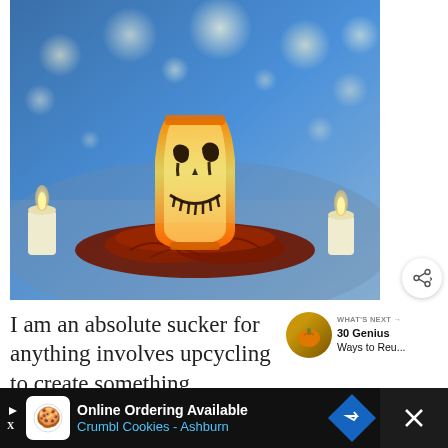[Figure (photo): Halloween-themed glowing skull lantern made from an orange glass, with black painted skull face, surrounded by red leaves and candles, bokeh blue background with string lights]
I am an absolute sucker for anything involves upcycling to create something
[Figure (infographic): WHAT'S NEXT → 30 Genius Ways to Reu... promotional thumbnail widget with circular photo]
[Figure (infographic): Online Ordering Available Crumbl Cookies - Ashburn advertisement banner at bottom of page]